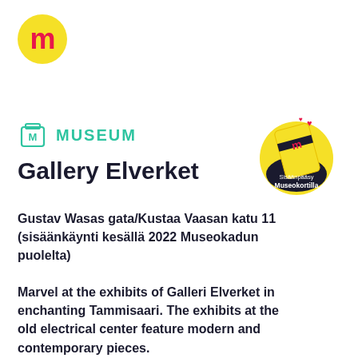[Figure (logo): Yellow circle with red lowercase letter m — Museokortit logo]
[Figure (infographic): Museum category icon: teal outlined container/jar with letter M, next to teal text MUSEUM]
Gallery Elverket
[Figure (illustration): Yellow circle badge with dark navy background showing Museokortit card being held, hearts above, text reads 'Sisäänpääsy Museokortilla']
Gustav Wasas gata/Kustaa Vaasan katu 11 (sisäänkäynti kesällä 2022 Museokadun puolelta)
Marvel at the exhibits of Galleri Elverket in enchanting Tammisaari. The exhibits at the old electrical center feature modern and contemporary pieces.